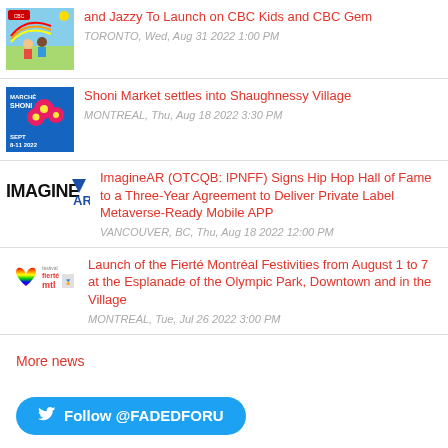and Jazzy To Launch on CBC Kids and CBC Gem
TORONTO, Wed, Aug 31 2022 1:00 PM
Shoni Market settles into Shaughnessy Village
MONTREAL, Thu, Aug 18 2022 3:30 PM
ImagineAR (OTCQB: IPNFF) Signs Hip Hop Hall of Fame to a Three-Year Agreement to Deliver Private Label Metaverse-Ready Mobile APP
VANCOUVER, BC, Thu, Aug 18 2022 12:00 PM
Launch of the Fierté Montréal Festivities from August 1 to 7 at the Esplanade of the Olympic Park, Downtown and in the Village
MONTREAL, Tue, Jul 26 2022 3:00 PM
More news
Follow @FADEDFORU